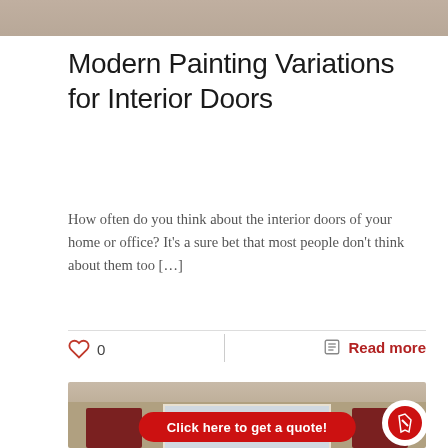[Figure (photo): Top portion of an interior/exterior home photo, cropped at top]
Modern Painting Variations for Interior Doors
How often do you think about the interior doors of your home or office? It’s a sure bet that most people don’t think about them too […]
♥ 0
Read more
[Figure (photo): Exterior house photo showing red shutters flanking a white window, with beige siding and roof eaves. CTA button overlay: Click here to get a quote!]